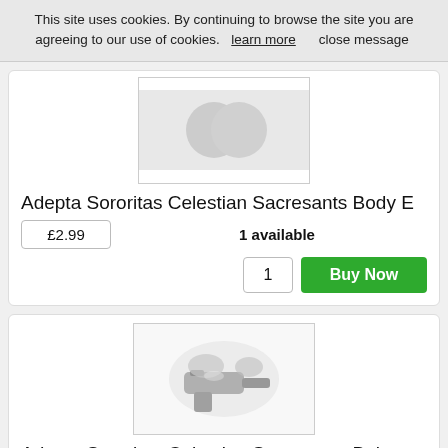This site uses cookies. By continuing to browse the site you are agreeing to our use of cookies.  learn more     close message
Adepta Sororitas Celestian Sacresants Body E
£2.99
1 available
1
Buy Now
[Figure (photo): Product image placeholder for Adepta Sororitas Celestian Sacresants Body E]
[Figure (photo): Miniature model of Adepta Sororitas Celestian Sacresants Bolt Pistol - grey plastic weapon/arm piece]
Adepta Sororitas Celestian Sacresants Bolt Pistol
£0.60
6 available